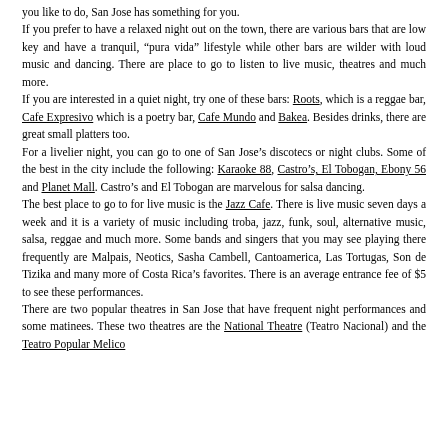you like to do, San Jose has something for you. If you prefer to have a relaxed night out on the town, there are various bars that are low key and have a tranquil, “pura vida” lifestyle while other bars are wilder with loud music and dancing. There are place to go to listen to live music, theatres and much more. If you are interested in a quiet night, try one of these bars: Roots, which is a reggae bar, Cafe Expresivo which is a poetry bar, Cafe Mundo and Bakea. Besides drinks, there are great small platters too. For a livelier night, you can go to one of San Jose’s discotecs or night clubs. Some of the best in the city include the following: Karaoke 88, Castro’s, El Tobogan, Ebony 56 and Planet Mall. Castro’s and El Tobogan are marvelous for salsa dancing. The best place to go to for live music is the Jazz Cafe. There is live music seven days a week and it is a variety of music including troba, jazz, funk, soul, alternative music, salsa, reggae and much more. Some bands and singers that you may see playing there frequently are Malpais, Neotics, Sasha Cambell, Cantoamerica, Las Tortugas, Son de Tizika and many more of Costa Rica’s favorites. There is an average entrance fee of $5 to see these performances. There are two popular theatres in San Jose that have frequent night performances and some matinees. These two theatres are the National Theatre (Teatro Nacional) and the Teatro Popular Melico